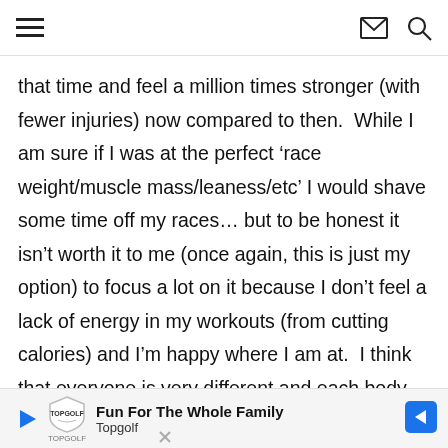[hamburger menu] [email icon] [search icon]
that time and feel a million times stronger (with fewer injuries) now compared to then.  While I am sure if I was at the perfect ‘race weight/muscle mass/leaness/etc’ I would shave some time off my races… but to be honest it isn’t worth it to me (once again, this is just my option) to focus a lot on it because I don’t feel a lack of energy in my workouts (from cutting calories) and I’m happy where I am at.  I think that everyone is very different and each body prefers different set points where they will preform their best.  Finding that set point i
[Figure (other): Advertisement banner for Topgolf: 'Fun For The Whole Family / Topgolf' with Topgolf logo and a blue navigation arrow icon]